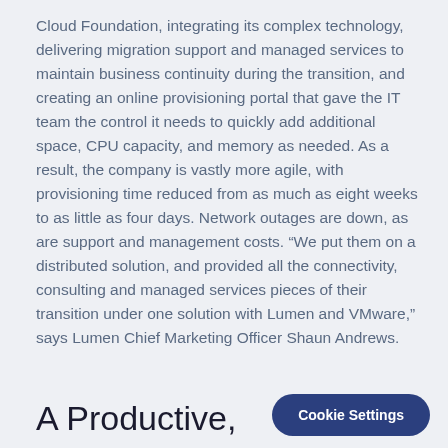Cloud Foundation, integrating its complex technology, delivering migration support and managed services to maintain business continuity during the transition, and creating an online provisioning portal that gave the IT team the control it needs to quickly add additional space, CPU capacity, and memory as needed. As a result, the company is vastly more agile, with provisioning time reduced from as much as eight weeks to as little as four days. Network outages are down, as are support and management costs. “We put them on a distributed solution, and provided all the connectivity, consulting and managed services pieces of their transition under one solution with Lumen and VMware,” says Lumen Chief Marketing Officer Shaun Andrews.
A Productive,